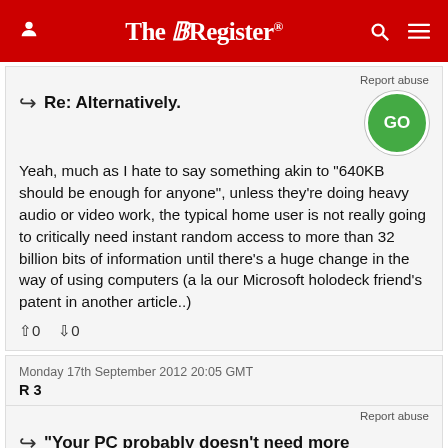The Register
Report abuse
Re: Alternatively.
Yeah, much as I hate to say something akin to "640KB should be enough for anyone", unless they're doing heavy audio or video work, the typical home user is not really going to critically need instant random access to more than 32 billion bits of information until there's a huge change in the way of using computers (a la our Microsoft holodeck friend's patent in another article..)
↑0  ↓0
Monday 17th September 2012 20:05 GMT
R 3
Report abuse
"Your PC probably doesn't need more